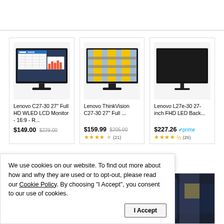[Figure (screenshot): E-commerce product listing page showing three Lenovo monitors in a grid layout, with a cookie consent banner overlaid at the bottom.]
Lenovo C27-30 27" Full HD WLED LCD Monitor - 16:9 - R...
$149.00  $229.00
Lenovo ThinkVision C27-30 27" Full ...
$159.99  $205.00  ★★★★☆ (21)
Lenovo L27e-30 27-inch FHD LED Back...
$227.26  prime  ★★★★½ (26)
We use cookies on our website. To find out more about how and why they are used or to opt-out, please read our Cookie Policy. By choosing "I Accept", you consent to our use of cookies.